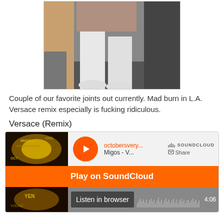[Figure (photo): Photo of a person wearing white pants and white high-top sneakers, cropped at midsection, standing outside at night]
Couple of our favorite joints out currently. Mad burn in L.A. Versace remix especially is fucking ridiculous.
Versace (Remix)
[Figure (screenshot): SoundCloud embedded player showing 'octobersvery...' by Migos - V, with Play on SoundCloud button and Listen in browser option, duration 4:06]